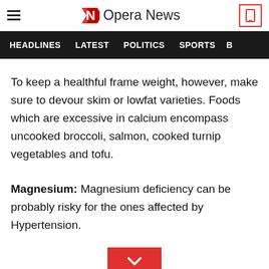Opera News
HEADLINES   LATEST   POLITICS   SPORTS   B
To keep a healthful frame weight, however, make sure to devour skim or lowfat varieties. Foods which are excessive in calcium encompass uncooked broccoli, salmon, cooked turnip vegetables and tofu.
Magnesium: Magnesium deficiency can be probably risky for the ones affected by Hypertension.